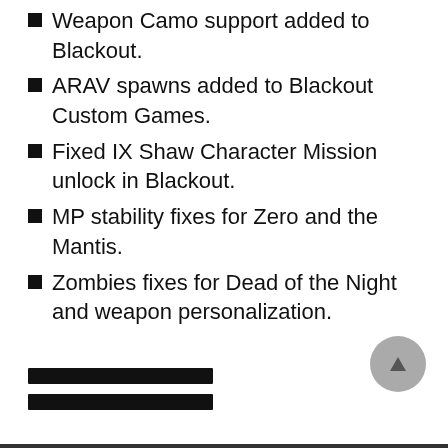Weapon Camo support added to Blackout.
ARAV spawns added to Blackout Custom Games.
Fixed IX Shaw Character Mission unlock in Blackout.
MP stability fixes for Zero and the Mantis.
Zombies fixes for Dead of the Night and weapon personalization.